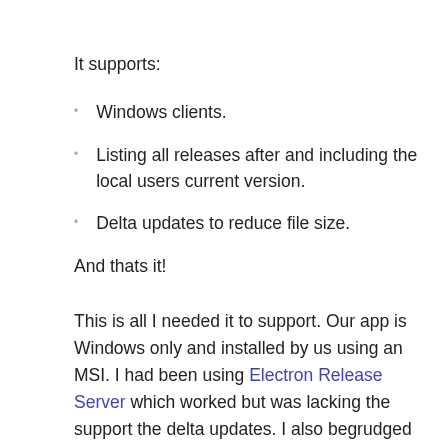It supports:
Windows clients.
Listing all releases after and including the local users current version.
Delta updates to reduce file size.
And thats it!
This is all I needed it to support. Our app is Windows only and installed by us using an MSI. I had been using Electron Release Server which worked but was lacking the support the delta updates. I also begrudged